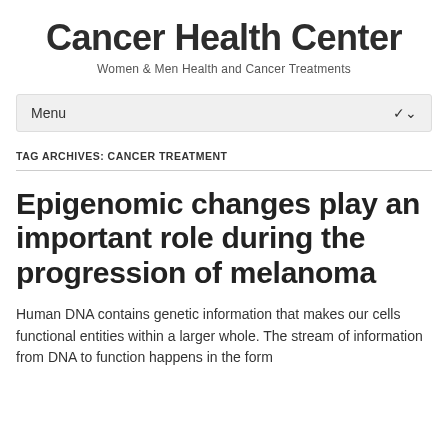Cancer Health Center
Women & Men Health and Cancer Treatments
Menu
TAG ARCHIVES: CANCER TREATMENT
Epigenomic changes play an important role during the progression of melanoma
Human DNA contains genetic information that makes our cells functional entities within a larger whole. The stream of information from DNA to function happens in the form